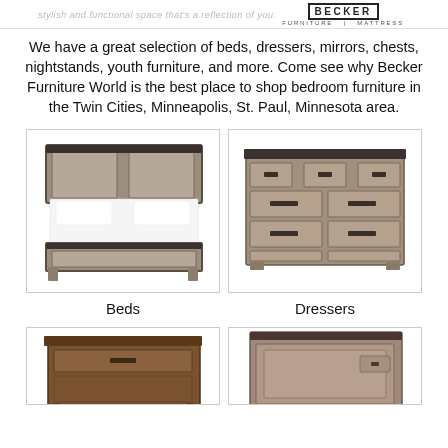stylish and functional space that's a reflection of you. BECKER FURNITURE | MATTRESS
We have a great selection of beds, dressers, mirrors, chests, nightstands, youth furniture, and more. Come see why Becker Furniture World is the best place to shop bedroom furniture in the Twin Cities, Minneapolis, St. Paul, Minnesota area.
[Figure (photo): Photo of a grey wood panel bed with white pillows and bedding, footboard visible]
Beds
[Figure (photo): Photo of a grey wood dresser with 7 drawers and dark metal bar handles]
Dressers
[Figure (photo): Photo of a dark brown wood nightstand with two drawers]
[Figure (photo): Photo of a rustic wood chest with panel door]